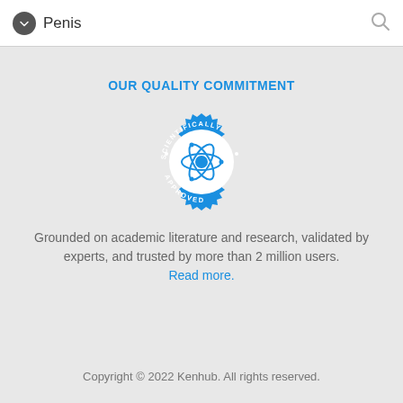Penis
OUR QUALITY COMMITMENT
[Figure (illustration): Blue circular badge/seal with text 'SCIENTIFICALLY APPROVED' around a central atom icon]
Grounded on academic literature and research, validated by experts, and trusted by more than 2 million users. Read more.
Copyright © 2022 Kenhub. All rights reserved.